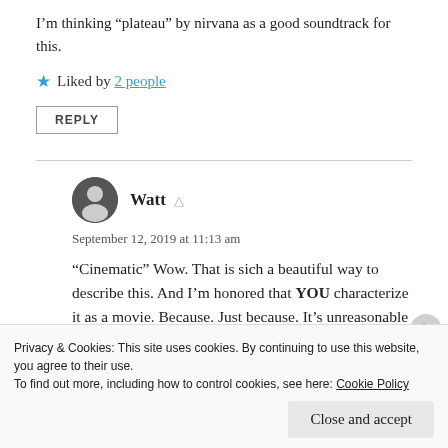I’m thinking “plateau” by nirvana as a good soundtrack for this.
★ Liked by 2 people
REPLY
Watt
September 12, 2019 at 11:13 am
“Cinematic” Wow. That is sich a beautiful way to describe this. And I’m honored that YOU characterize it as a movie. Because. Just because. It’s unreasonable how much that
Privacy & Cookies: This site uses cookies. By continuing to use this website, you agree to their use.
To find out more, including how to control cookies, see here: Cookie Policy
Close and accept